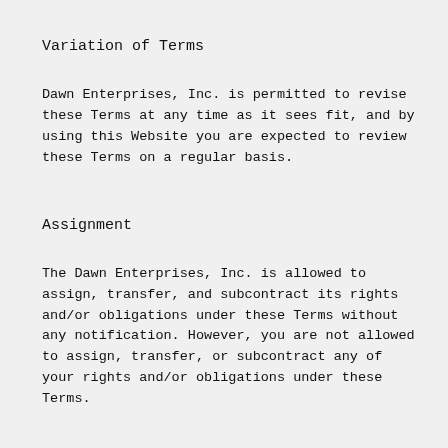Variation of Terms
Dawn Enterprises, Inc. is permitted to revise these Terms at any time as it sees fit, and by using this Website you are expected to review these Terms on a regular basis.
Assignment
The Dawn Enterprises, Inc. is allowed to assign, transfer, and subcontract its rights and/or obligations under these Terms without any notification. However, you are not allowed to assign, transfer, or subcontract any of your rights and/or obligations under these Terms.
Entire Agreement